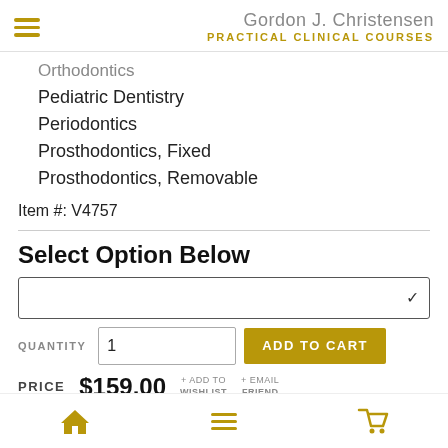Gordon J. Christensen PRACTICAL CLINICAL COURSES
Orthodontics
Pediatric Dentistry
Periodontics
Prosthodontics, Fixed
Prosthodontics, Removable
Item #: V4757
Select Option Below
QUANTITY 1 ADD TO CART
PRICE $159.00 + ADD TO WISHLIST + EMAIL FRIEND